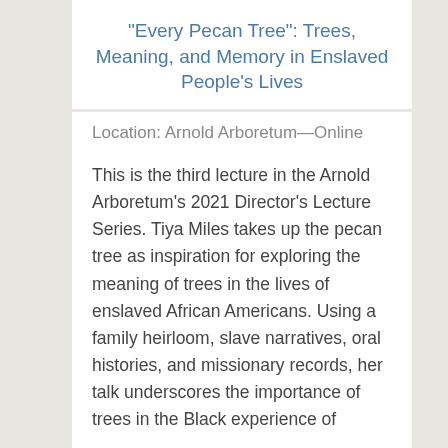"Every Pecan Tree": Trees, Meaning, and Memory in Enslaved People's Lives
Location: Arnold Arboretum—Online
This is the third lecture in the Arnold Arboretum's 2021 Director's Lecture Series. Tiya Miles takes up the pecan tree as inspiration for exploring the meaning of trees in the lives of enslaved African Americans. Using a family heirloom, slave narratives, oral histories, and missionary records, her talk underscores the importance of trees in the Black experience of